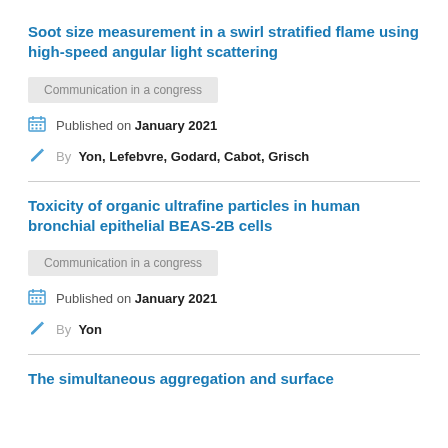Soot size measurement in a swirl stratified flame using high-speed angular light scattering
Communication in a congress
Published on January 2021
By Yon, Lefebvre, Godard, Cabot, Grisch
Toxicity of organic ultrafine particles in human bronchial epithelial BEAS-2B cells
Communication in a congress
Published on January 2021
By Yon
The simultaneous aggregation and surface